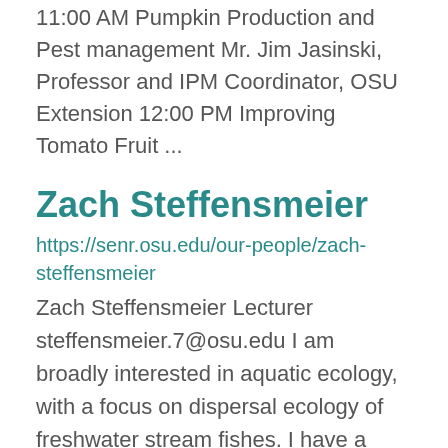11:00 AM Pumpkin Production and Pest management Mr. Jim Jasinski, Professor and IPM Coordinator, OSU Extension 12:00 PM Improving Tomato Fruit ...
Zach Steffensmeier
https://senr.osu.edu/our-people/zach-steffensmeier
Zach Steffensmeier Lecturer steffensmeier.7@osu.edu I am broadly interested in aquatic ecology, with a focus on dispersal ecology of freshwater stream fishes. I have a B.S. and M.S. in Environmental Science and Management from Duquesne University. My PhD ...